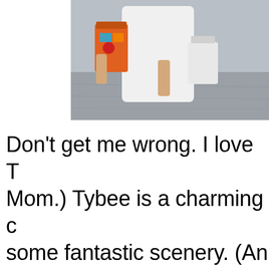[Figure (photo): Partial photo of a person in a white shirt carrying colorful bags, standing on what appears to be a wet or flooded road/surface, cropped at the top of the page]
Don't get me wrong. I love T... Mom.) Tybee is a charming c... some fantastic scenery. (An... happy to report that most of ... Hurricane Irma just fine, tho... from last week's storm were ... everywhere. But it wasn't Ty... Irma's wrath (or Mom's Mom...